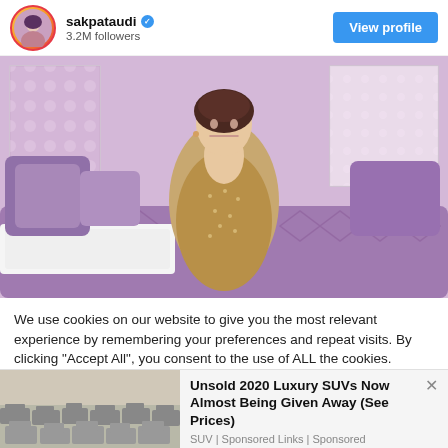sakpataudi  3.2M followers  View profile
[Figure (photo): Woman in a gold sequined dress sitting on a purple velvet sofa with purple cushions, purple curtains in the background]
We use cookies on our website to give you the most relevant experience by remembering your preferences and repeat visits. By clicking "Accept All", you consent to the use of ALL the cookies. However, you may visit "Cookie Settings" to provide a controlled consent.
[Figure (photo): Advertisement image showing a parking lot full of cars]
Unsold 2020 Luxury SUVs Now Almost Being Given Away (See Prices)
SUV | Sponsored Links | Sponsored